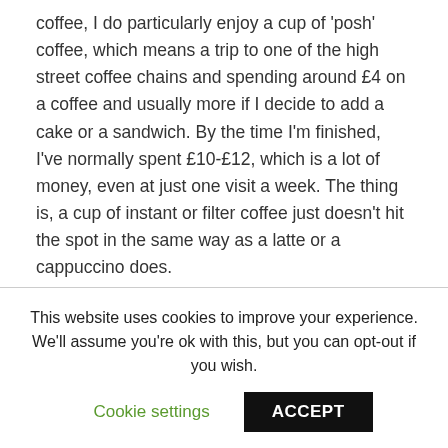coffee, I do particularly enjoy a cup of 'posh' coffee, which means a trip to one of the high street coffee chains and spending around £4 on a coffee and usually more if I decide to add a cake or a sandwich. By the time I'm finished, I've normally spent £10-£12, which is a lot of money, even at just one visit a week. The thing is, a cup of instant or filter coffee just doesn't hit the spot in the same way as a latte or a cappuccino does.
With this in mind, I was really excited when I received the NESCAFÉ Dolce Gusto Jovia coffee machine. The Dolce Gusto Jovia is a 'pod' type of coffee system (they do seem to be very popular these days), so as well as being able to
This website uses cookies to improve your experience. We'll assume you're ok with this, but you can opt-out if you wish.
Cookie settings
ACCEPT